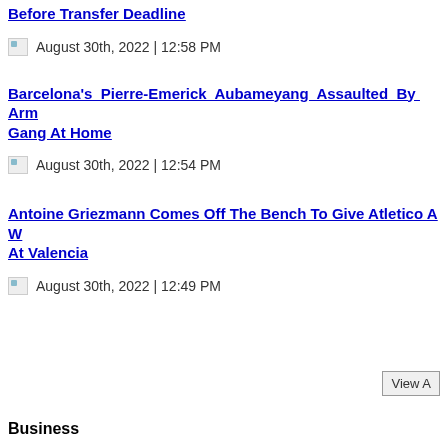Before Transfer Deadline
August 30th, 2022 | 12:58 PM
Barcelona's Pierre-Emerick Aubameyang Assaulted By Armed Gang At Home
August 30th, 2022 | 12:54 PM
Antoine Griezmann Comes Off The Bench To Give Atletico A W At Valencia
August 30th, 2022 | 12:49 PM
View A
Business